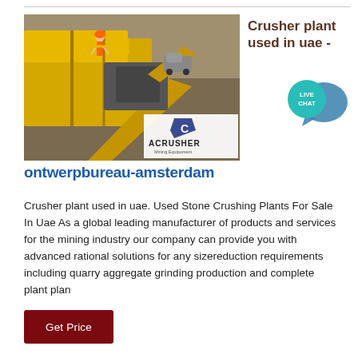[Figure (photo): Photograph of a large yellow crusher plant/mining equipment at a quarry site with a worker visible on the machinery. ACRUSHER Mining Equipment logo overlay at bottom right.]
Crusher plant used in uae -
[Figure (infographic): Live Chat speech bubble badge in teal/blue color with text LIVE CHAT]
ontwerpbureau-amsterdam
Crusher plant used in uae. Used Stone Crushing Plants For Sale In Uae As a global leading manufacturer of products and services for the mining industry our company can provide you with advanced rational solutions for any sizereduction requirements including quarry aggregate grinding production and complete plant plan
Get Price